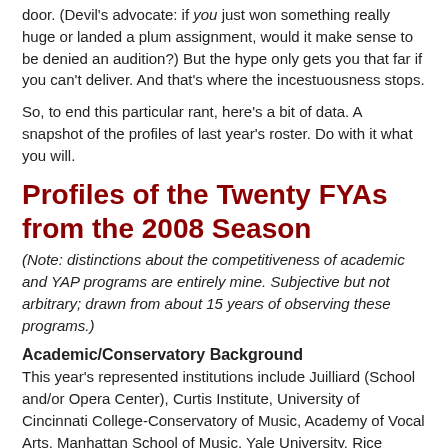door. (Devil's advocate: if you just won something really huge or landed a plum assignment, would it make sense to be denied an audition?) But the hype only gets you that far if you can't deliver. And that's where the incestuousness stops.
So, to end this particular rant, here's a bit of data. A snapshot of the profiles of last year's roster. Do with it what you will.
Profiles of the Twenty FYAs from the 2008 Season
(Note: distinctions about the competitiveness of academic and YAP programs are entirely mine. Subjective but not arbitrary; drawn from about 15 years of observing these programs.)
Academic/Conservatory Background
This year's represented institutions include Juilliard (School and/or Opera Center), Curtis Institute, University of Cincinnati College-Conservatory of Music, Academy of Vocal Arts, Manhattan School of Music, Yale University, Rice University, DePaul University, New England Conservatory, Boston University, Oklahoma City University.